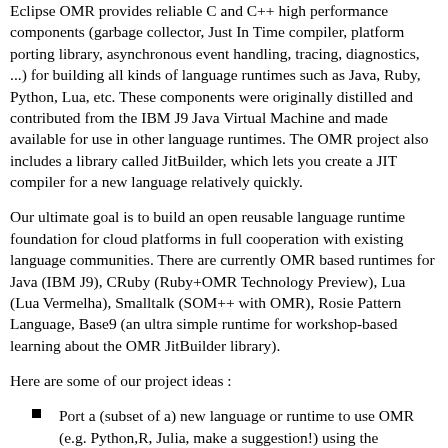Eclipse OMR provides reliable C and C++ high performance components (garbage collector, Just In Time compiler, platform porting library, asynchronous event handling, tracing, diagnostics, ...) for building all kinds of language runtimes such as Java, Ruby, Python, Lua, etc. These components were originally distilled and contributed from the IBM J9 Java Virtual Machine and made available for use in other language runtimes. The OMR project also includes a library called JitBuilder, which lets you create a JIT compiler for a new language relatively quickly.
Our ultimate goal is to build an open reusable language runtime foundation for cloud platforms in full cooperation with existing language communities. There are currently OMR based runtimes for Java (IBM J9), CRuby (Ruby+OMR Technology Preview), Lua (Lua Vermelha), Smalltalk (SOM++ with OMR), Rosie Pattern Language, Base9 (an ultra simple runtime for workshop-based learning about the OMR JitBuilder library).
Here are some of our project ideas :
Port a (subset of a) new language or runtime to use OMR (e.g. Python,R, Julia, make a suggestion!) using the JitBuilder library
Use JitBuilder to dynamically compile native code to accelerate some application (e.g. Apache Spark, NumPy/SciPy